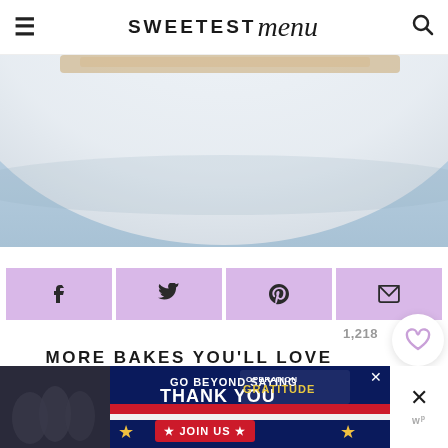SWEETEST menu
[Figure (photo): Close-up photo of a white ceramic dish on a light blue surface, showing the edge of a baked dessert]
[Figure (infographic): Row of four lavender/purple social share buttons: Facebook, Twitter, Pinterest, Email]
1,218
MORE BAKES YOU'LL LOVE
[Figure (screenshot): Advertisement banner: GO BEYOND SAYING THANK YOU — OPERATION GRATITUDE — JOIN US]